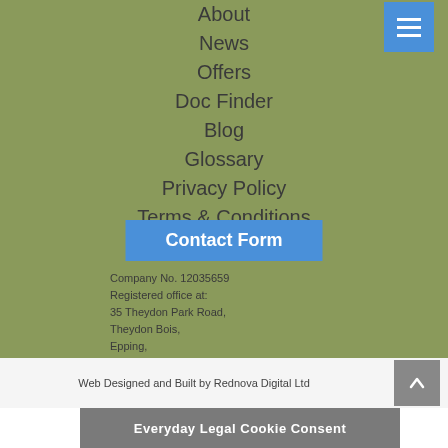About
News
Offers
Doc Finder
Blog
Glossary
Privacy Policy
Terms & Conditions
Contact Form
Company No. 12035659
Registered office at:
35 Theydon Park Road,
Theydon Bois,
Epping,
England, CM16 7LR
Not for correspondence
Web Designed and Built by Rednova Digital Ltd
Everyday Legal Cookie Consent